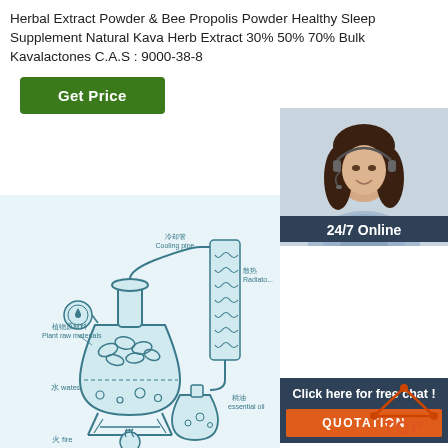Herbal Extract Powder & Bee Propolis Powder Healthy Sleep Supplement Natural Kava Herb Extract 30% 50% 70% Bulk Kavalactones C.A.S : 9000-38-8
[Figure (other): Green 'Get Price' button]
[Figure (photo): 24/7 Online customer service agent (woman with headset) with 'Click here for free chat!' and orange QUOTATION button]
[Figure (schematic): Herbal extraction process diagram showing plant raw materials, cooling pipe, radiator, essential oil output, water, and fire heat source. Labels in Chinese and English.]